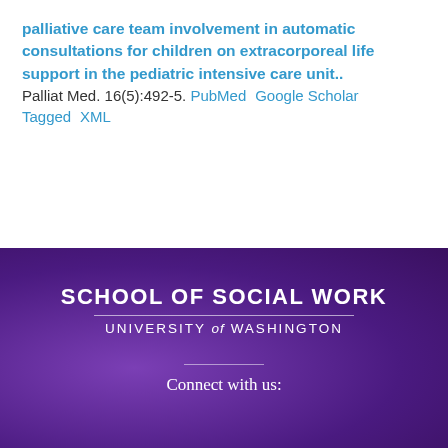palliative care team involvement in automatic consultations for children on extracorporeal life support in the pediatric intensive care unit..
J Palliat Med. 16(5):492-5. PubMed Google Scholar Tagged XML
[Figure (logo): University of Washington School of Social Work logo on purple background with text 'SCHOOL OF SOCIAL WORK' and 'UNIVERSITY of WASHINGTON']
Connect with us: